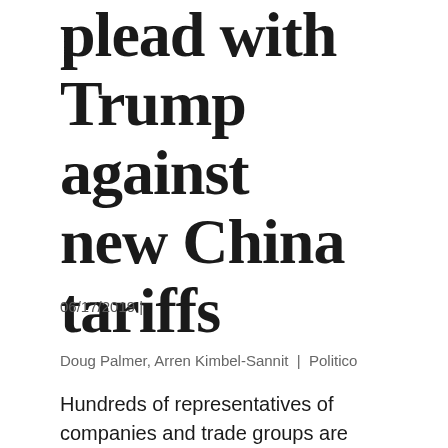plead with Trump against new China tariffs
06/17/2019 |
Doug Palmer, Arren Kimbel-Sannit | Politico
Hundreds of representatives of companies and trade groups are warning President Donald Trump that carrying out his plan to